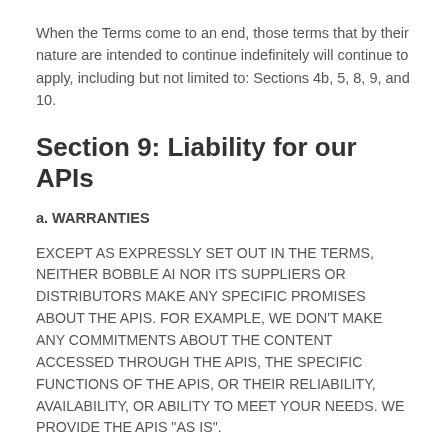When the Terms come to an end, those terms that by their nature are intended to continue indefinitely will continue to apply, including but not limited to: Sections 4b, 5, 8, 9, and 10.
Section 9: Liability for our APIs
a. WARRANTIES
EXCEPT AS EXPRESSLY SET OUT IN THE TERMS, NEITHER BOBBLE AI NOR ITS SUPPLIERS OR DISTRIBUTORS MAKE ANY SPECIFIC PROMISES ABOUT THE APIS. FOR EXAMPLE, WE DON'T MAKE ANY COMMITMENTS ABOUT THE CONTENT ACCESSED THROUGH THE APIS, THE SPECIFIC FUNCTIONS OF THE APIS, OR THEIR RELIABILITY, AVAILABILITY, OR ABILITY TO MEET YOUR NEEDS. WE PROVIDE THE APIS "AS IS".
SOME JURISDICTIONS PROVIDE FOR CERTAIN WARRANTIES, LIKE THE IMPLIED WARRANTY OF MERCHANTABILITY, FITNESS FOR A PARTICULAR PURPOSE, AND NON-INFRINGEMENT. EXCEPT AS EXPRESSLY PROVIDED FOR IN THE TERMS, TO THE EXTENT PERMITTED BY LAW, WE EXCLUDE ALL WARRANTIES, GUARANTEES, CONDITIONS